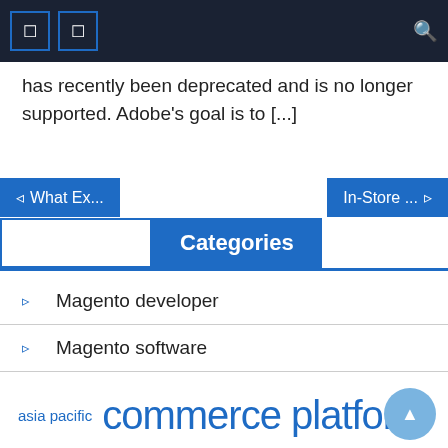Navigation bar with icons and search
has recently been deprecated and is no longer supported. Adobe's goal is to [...]
Categories
Magento developer
Magento software
Magento templates
Magento themes
asia pacific   commerce platform